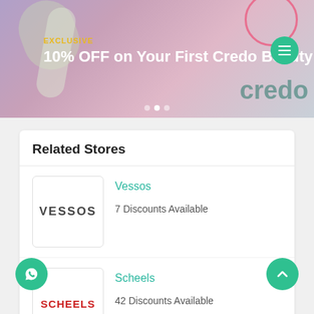[Figure (photo): Promotional banner for Credo Beauty with cosmetic products background, teal circle logo, and menu button]
EXCLUSIVE
10% OFF on Your First Credo Beauty Ord
Related Stores
Vessos
7 Discounts Available
Scheels
42 Discounts Available
Bellelily
24 Discounts Available
Oppo Suits
26 Discounts Available